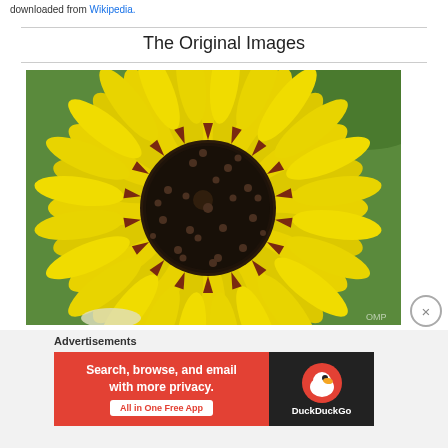downloaded from Wikipedia.
The Original Images
[Figure (photo): Close-up photograph of a sunflower with bright yellow petals and a dark brown center disk, with green background visible at top right]
Advertisements
[Figure (screenshot): DuckDuckGo advertisement banner: red section with text 'Search, browse, and email with more privacy. All in One Free App' and dark section with DuckDuckGo logo and brand name]